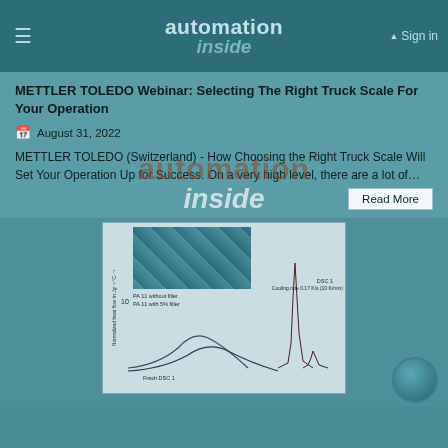automation inside
METTLER TOLEDO Webinar: Selecting The Right Truck Scale For Your Operation
August 31, 2022
METTLER TOLEDO (Switzerland) - How Choosing the Right Truck Scale Will Set Your Operation Up for Success. On a very high level, there are a lot of...
[Figure (continuous-plot): DSC (Differential Scanning Calorimetry) chart showing normalized heat flow curves for PA 11 without filler and PA 11 with 5% filler. Shows a Fresh DSC 1 curve, DSC 1 cooling rate 0.17 K/s (10 K/min). Includes an inset microscopy image of material structure. Y-axis: Normalized heat flow in Jg^-1 °C^-1, value 10 marked. Labels: PA 11 without filler, PA 11 with 5% filler, DSC 1, Cooling rate 0.17 K/s (10 K/min), Fresh DSC 1.]